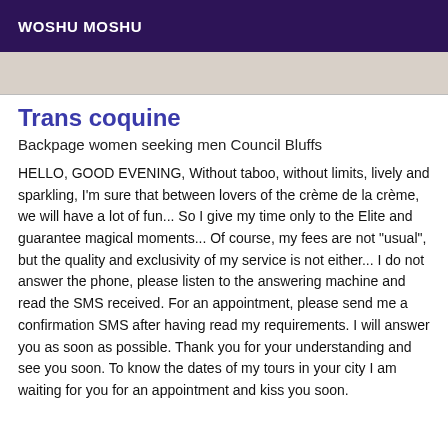WOSHU MOSHU
[Figure (photo): Partial photo strip visible at top of content area, showing a light-colored surface, appears to be a cropped photograph.]
Trans coquine
Backpage women seeking men Council Bluffs
HELLO, GOOD EVENING, Without taboo, without limits, lively and sparkling, I'm sure that between lovers of the crème de la crème, we will have a lot of fun... So I give my time only to the Elite and guarantee magical moments... Of course, my fees are not "usual", but the quality and exclusivity of my service is not either... I do not answer the phone, please listen to the answering machine and read the SMS received. For an appointment, please send me a confirmation SMS after having read my requirements. I will answer you as soon as possible. Thank you for your understanding and see you soon. To know the dates of my tours in your city I am waiting for you for an appointment and kiss you soon.